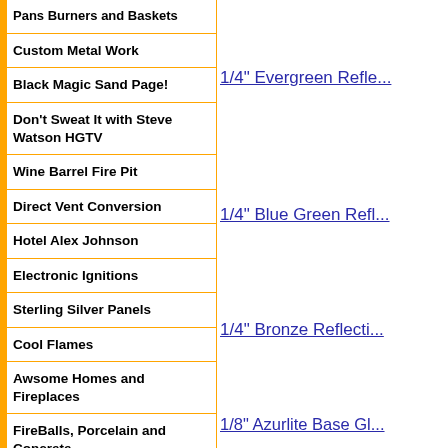Pans Burners and Baskets
Custom Metal Work
Black Magic Sand Page!
Don't Sweat It with Steve Watson HGTV
Wine Barrel Fire Pit
Direct Vent Conversion
Hotel Alex Johnson
Electronic Ignitions
Sterling Silver Panels
Cool Flames
Awsome Homes and Fireplaces
FireBalls, Porcelain and Concrete
Concrete FireBalls
FireRocks
1/4" Evergreen Refle...
1/4" Blue Green Refl...
1/4" Bronze Reflecti...
1/8" Azurlite Base Gl...
1/2" Bronze Base Gl...